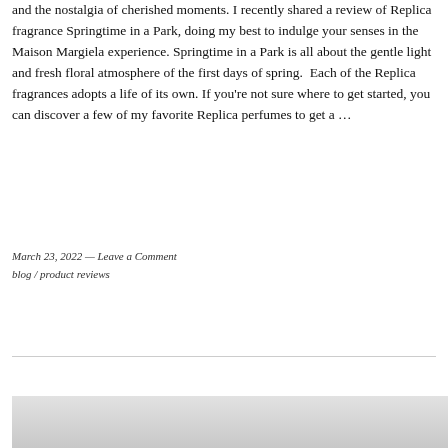and the nostalgia of cherished moments. I recently shared a review of Replica fragrance Springtime in a Park, doing my best to indulge your senses in the Maison Margiela experience. Springtime in a Park is all about the gentle light and fresh floral atmosphere of the first days of spring.  Each of the Replica fragrances adopts a life of its own. If you're not sure where to get started, you can discover a few of my favorite Replica perfumes to get a ...
March 23, 2022 — Leave a Comment
blog / product reviews
[Figure (photo): Partial photo visible at the bottom of the page, light gray background, appears to be a product or lifestyle photo.]